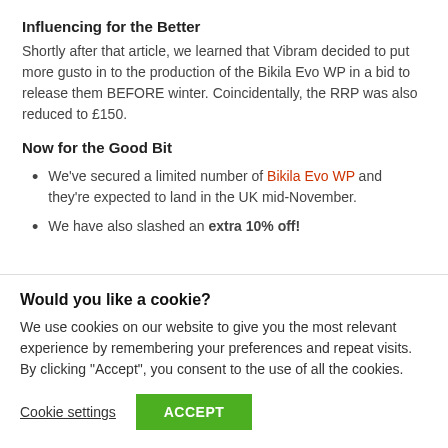Influencing for the Better
Shortly after that article, we learned that Vibram decided to put more gusto in to the production of the Bikila Evo WP in a bid to release them BEFORE winter. Coincidentally, the RRP was also reduced to £150.
Now for the Good Bit
We've secured a limited number of Bikila Evo WP and they're expected to land in the UK mid-November.
We have also slashed an extra 10% off!
Would you like a cookie?
We use cookies on our website to give you the most relevant experience by remembering your preferences and repeat visits. By clicking "Accept", you consent to the use of all the cookies.
Cookie settings | ACCEPT